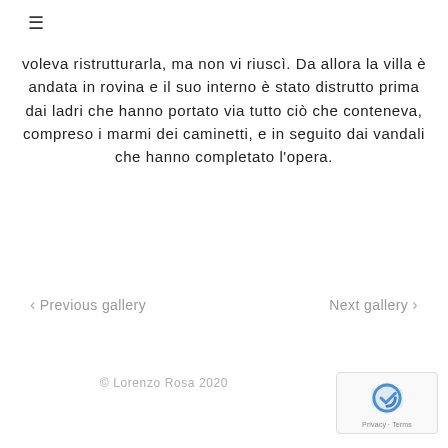≡
voleva ristrutturarla, ma non vi riuscì. Da allora la villa è andata in rovina e il suo interno è stato distrutto prima dai ladri che hanno portato via tutto ciò che conteneva, compreso i marmi dei caminetti, e in seguito dai vandali che hanno completato l'opera.
< Previous gallery   Next gallery >
© Lorenzo Rosa 2020